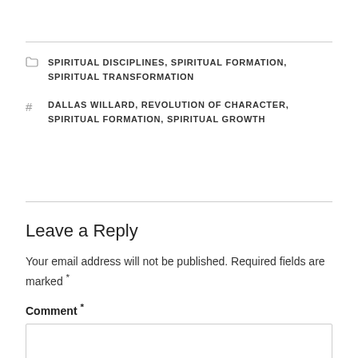SPIRITUAL DISCIPLINES, SPIRITUAL FORMATION, SPIRITUAL TRANSFORMATION
DALLAS WILLARD, REVOLUTION OF CHARACTER, SPIRITUAL FORMATION, SPIRITUAL GROWTH
Leave a Reply
Your email address will not be published. Required fields are marked *
Comment *